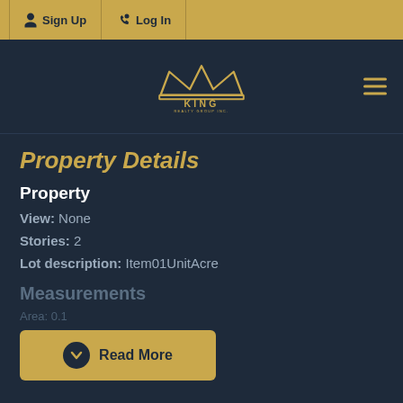Sign Up  Log In
[Figure (logo): King Realty Group Inc. crown logo in gold on dark navy background]
Property Details
Property
View: None
Stories: 2
Lot description: Item01UnitAcre
Measurements
Area: 0.1
[Figure (other): Read More button with down-arrow icon]